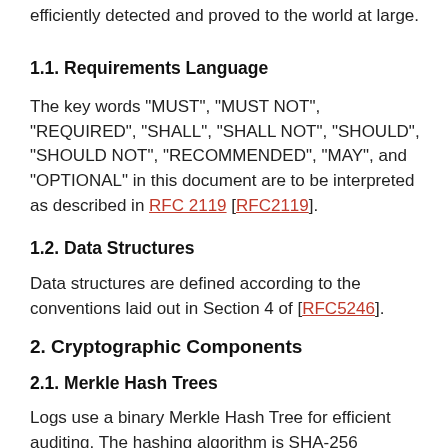efficiently detected and proved to the world at large.
1.1. Requirements Language
The key words "MUST", "MUST NOT", "REQUIRED", "SHALL", "SHALL NOT", "SHOULD", "SHOULD NOT", "RECOMMENDED", "MAY", and "OPTIONAL" in this document are to be interpreted as described in RFC 2119 [RFC2119].
1.2. Data Structures
Data structures are defined according to the conventions laid out in Section 4 of [RFC5246].
2. Cryptographic Components
2.1. Merkle Hash Trees
Logs use a binary Merkle Hash Tree for efficient auditing. The hashing algorithm is SHA-256 [FIPS.180-4] (note that this is fixed for this experiment, but it is anticipated that